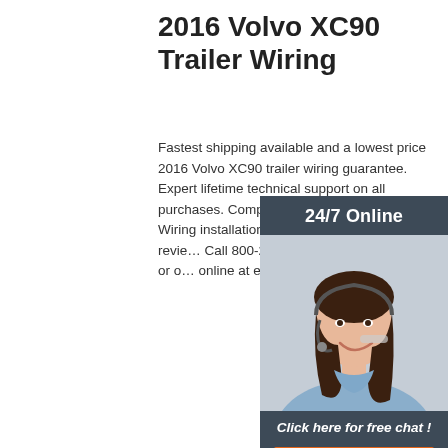2016 Volvo XC90 Trailer Wiring
Fastest shipping available and a lowest price 2016 Volvo XC90 trailer wiring guarantee. Expert lifetime technical support on all purchases. Complete 2016 Volvo XC90 Trailer Wiring installation instructions and customer reviews. Call 800-298-1624 to place your order or order online at etrailer.com.
[Figure (illustration): Customer support widget showing a woman wearing a headset with '24/7 Online' header, 'Click here for free chat!' text, and an orange 'QUOTATION' button, on a dark blue-grey background.]
Get Price